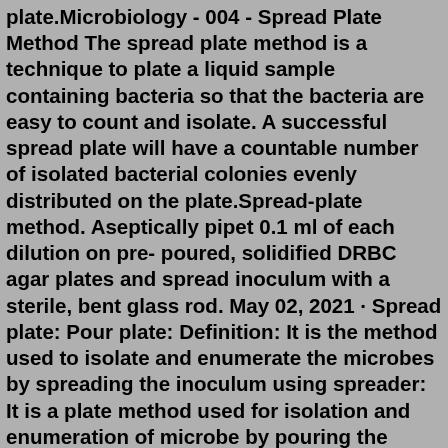plate.Microbiology - 004 - Spread Plate Method The spread plate method is a technique to plate a liquid sample containing bacteria so that the bacteria are easy to count and isolate. A successful spread plate will have a countable number of isolated bacterial colonies evenly distributed on the plate.Spread-plate method. Aseptically pipet 0.1 ml of each dilution on pre- poured, solidified DRBC agar plates and spread inoculum with a sterile, bent glass rod. May 02, 2021 · Spread plate: Pour plate: Definition: It is the method used to isolate and enumerate the microbes by spreading the inoculum using spreader: It is a plate method used for isolation and enumeration of microbe by pouring the molten and cooled nutrient media in the inoculum: Purpose: To obtain pure culture, isolation and enumeration the spread plate method, stated that it is more accurate than the pour plate method and has additional advantages, including colony development and appearance and the option of preparing plates well in advance of sample processing. Ptak and Ginsburg12 also listed